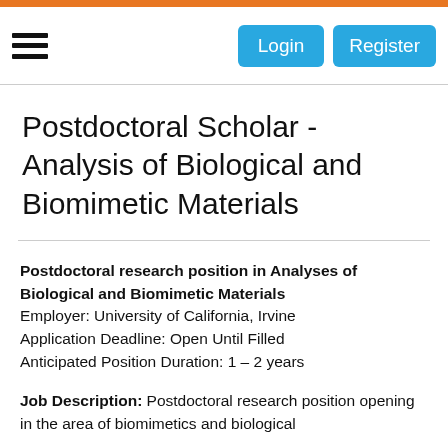Login | Register
Postdoctoral Scholar - Analysis of Biological and Biomimetic Materials
Postdoctoral research position in Analyses of Biological and Biomimetic Materials
Employer: University of California, Irvine
Application Deadline: Open Until Filled
Anticipated Position Duration: 1 – 2 years
Job Description: Postdoctoral research position opening in the area of biomimetics and biological